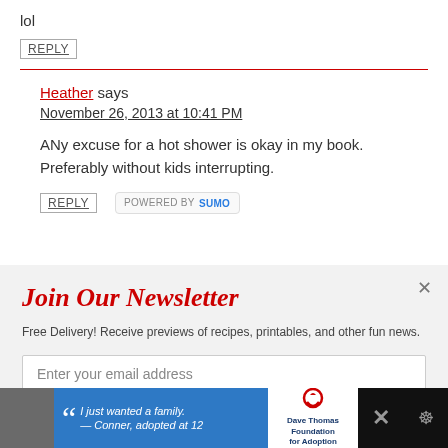lol
REPLY
Heather says
November 26, 2013 at 10:41 PM
ANy excuse for a hot shower is okay in my book. Preferably without kids interrupting.
REPLY
POWERED BY SUMO
Join Our Newsletter
Free Delivery! Receive previews of recipes, printables, and other fun news.
Enter your email address
[Figure (infographic): Ad banner for Dave Thomas Foundation for Adoption featuring a quote 'I just wanted a family. — Conner, adopted at 12']